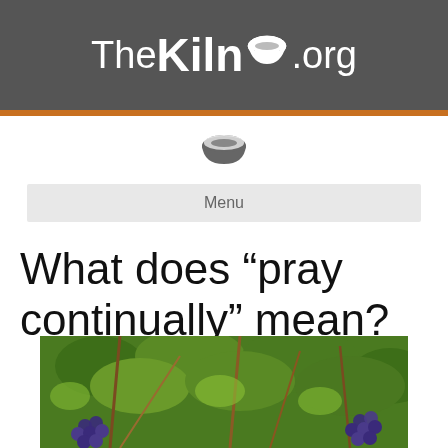TheKilno.org
[Figure (logo): Bowl/kiln icon in dark gray, used as navigation icon below header]
Menu
What does “pray continually” mean?
[Figure (photo): Photograph of grape vines with clusters of dark blue grapes and green leaves, partially visible at the bottom of the page]